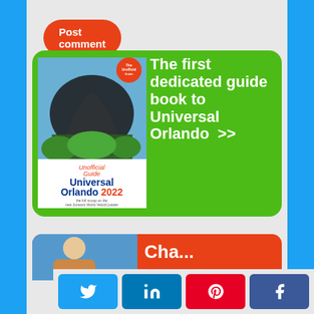Post comment
[Figure (illustration): Green advertisement banner for 'The Unofficial Guide Universal Orlando 2022' book. Left side shows book cover with roller coaster image and title. Right side has white bold text: 'The first dedicated guide book to Universal Orlando >>']
[Figure (photo): Partial red banner visible at bottom with a person photo on the left and partial white text starting with 'Cha...' on the right]
Twitter share button
LinkedIn share button
Pinterest share button
Facebook share button